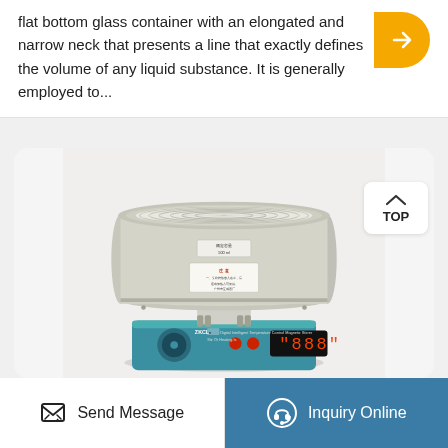flat bottom glass container with an elongated and narrow neck that presents a line that exactly defines the volume of any liquid substance. It is generally employed to...
[Figure (photo): Laboratory heating mantle with digital intelligent temperature control magnetic stirrer (ZKCL model). Shows a round, cylindrical beige-colored heating mantle with woven interior, mounted on a teal/blue control base with digital display showing dashes, control knobs, and Chinese text labels.]
TOP
Send Message
Inquiry Online